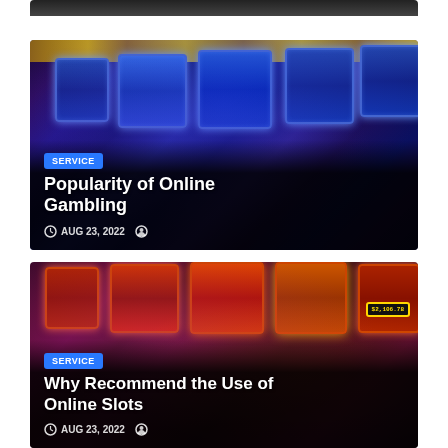[Figure (photo): Partial view of dark casino/gambling themed image at top]
[Figure (photo): Casino slot machines with blue neon lighting, labeled SERVICE, titled Popularity of Online Gambling, dated AUG 23, 2022]
[Figure (photo): Casino slot machines with red/pink warm lighting, labeled SERVICE, titled Why Recommend the Use of Online Slots, dated AUG 23, 2022]